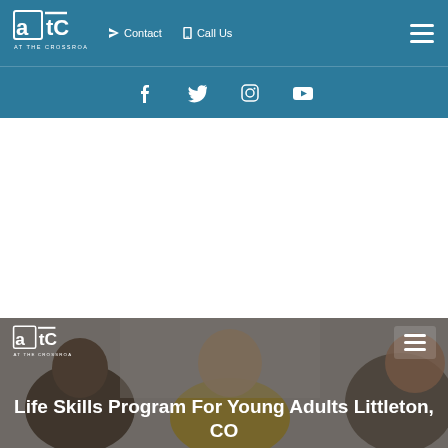[Figure (screenshot): ATC At The Crossroads website header with teal navigation bar containing logo, Contact, Call Us links and hamburger menu]
[Figure (screenshot): Social media icons bar with Facebook, Twitter, Instagram, and YouTube icons on teal background]
[Figure (photo): Hero section showing group of young adults smiling and talking, with ATC logo overlay and title text]
Life Skills Program For Young Adults Littleton, CO